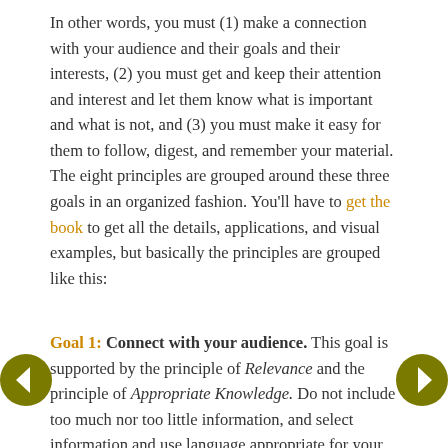In other words, you must (1) make a connection with your audience and their goals and their interests, (2) you must get and keep their attention and interest and let them know what is important and what is not, and (3) you must make it easy for them to follow, digest, and remember your material. The eight principles are grouped around these three goals in an organized fashion. You'll have to get the book to get all the details, applications, and visual examples, but basically the principles are grouped like this:
Goal 1: Connect with your audience. This goal is supported by the principle of Relevance and the principle of Appropriate Knowledge. Do not include too much nor too little information, and select information and use language appropriate for your
[Figure (other): Left navigation arrow (back) in olive/dark yellow circle]
[Figure (other): Right navigation arrow (forward) in olive/dark yellow circle]